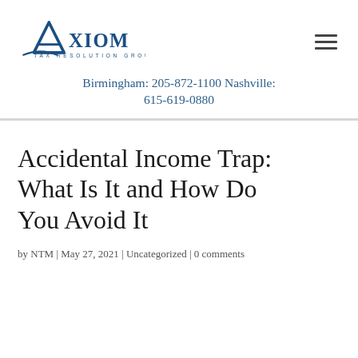[Figure (logo): Axiom Tax Resolution Group logo with stylized letter A and blue text]
Birmingham: 205-872-1100 Nashville: 615-619-0880
Accidental Income Trap: What Is It and How Do You Avoid It
by NTM | May 27, 2021 | Uncategorized | 0 comments